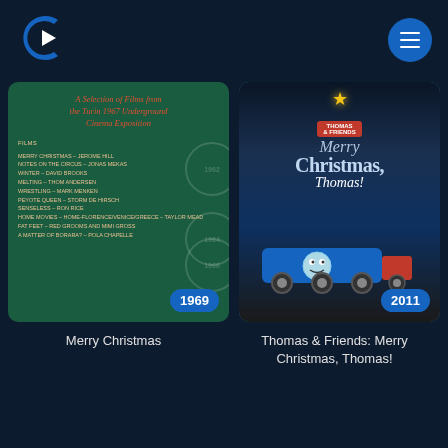[Figure (logo): Crunchyroll-style C logo in blue/white]
[Figure (illustration): Hamburger/menu button blue circle with three white horizontal lines]
[Figure (photo): Movie poster: A Selection of Films from the Turin 1967 Underground Cinema Exposition. Dark green background with orange/red title text and list of films. Year badge: 1969]
[Figure (photo): Thomas & Friends: Merry Christmas Thomas! DVD cover with animated Thomas the Tank Engine in snowy Christmas scene. Year badge: 2011]
Merry Christmas
Thomas & Friends: Merry Christmas, Thomas!